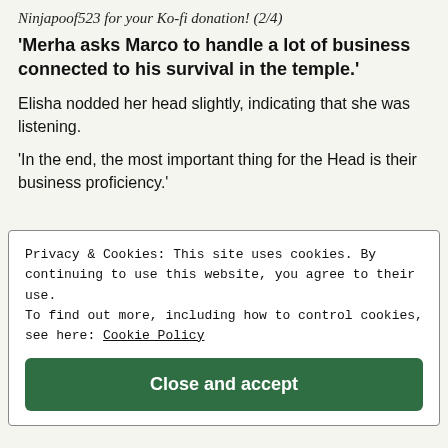Ninjapoof523 for your Ko-fi donation! (2/4)
'Merha asks Marco to handle a lot of business connected to his survival in the temple.'
Elisha nodded her head slightly, indicating that she was listening.
'In the end, the most important thing for the Head is their business proficiency.'
Privacy & Cookies: This site uses cookies. By continuing to use this website, you agree to their use.
To find out more, including how to control cookies, see here: Cookie Policy
Close and accept